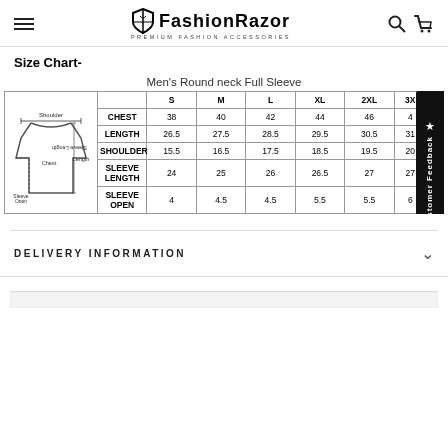FashionRazor — Premium Fashion Accessories
Size Chart-
Men's Round neck Full Sleeve
|  |  | S | M | L | XL | 2XL | 3X |
| --- | --- | --- | --- | --- | --- | --- | --- |
| [garment image] | CHEST | 38 | 40 | 42 | 44 | 46 | 4 |
|  | LENGTH | 26.5 | 27.5 | 28.5 | 29.5 | 30.5 | 31 |
|  | SHOULDER | 15.5 | 16.5 | 17.5 | 18.5 | 19.5 | 20 |
|  | SLEEVE LENGTH | 24 | 25 | 26 | 26.5 | 27 | 27 |
|  | SLEEVE OPEN | 4 | 4.5 | 4.5 | 5.5 | 5.5 | 6 |
DELIVERY INFORMATION